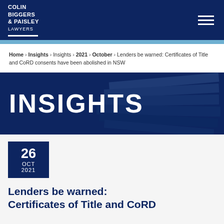COLIN BIGGERS & PAISLEY LAWYERS
Home > Insights > Insights > 2021 > October > Lenders be warned: Certificates of Title and CoRD consents have been abolished in NSW
[Figure (illustration): INSIGHTS banner with dark navy background and paper stack image]
26 OCT 2021
Lenders be warned: Certificates of Title and CoRD